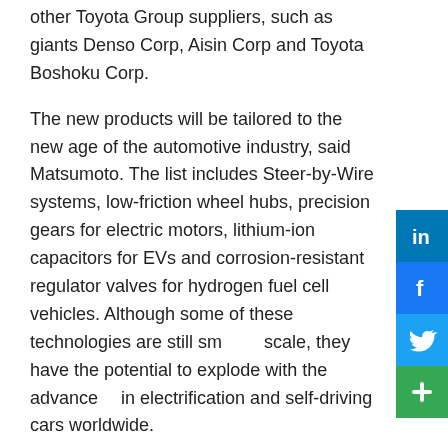other Toyota Group suppliers, such as giants Denso Corp, Aisin Corp and Toyota Boshoku Corp.
The new products will be tailored to the new age of the automotive industry, said Matsumoto. The list includes Steer-by-Wire systems, low-friction wheel hubs, precision gears for electric motors, lithium-ion capacitors for EVs and corrosion-resistant regulator valves for hydrogen fuel cell vehicles. Although some of these technologies are still small-scale, they have the potential to explode with the advance in electrification and self-driving cars worldwide.
JTEKT landed in Mexico in 2015 to supply one single product for Toyota. Currently, the company has 12 production lines and manufactures steering systems for five different OEMs in Mexico and the USMCA region.
JTEKT Begins Operations at San Luis Potosi Expanded Plant
JTEKT's presence in Mexico continues to grow, inaugurating a new expansion at its San Luis Potosi plant in March 2022.